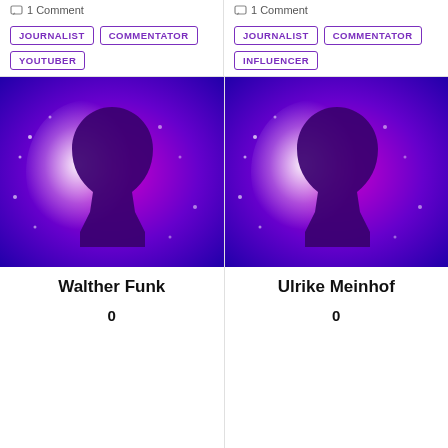1 Comment (left column)
1 Comment (right column)
JOURNALIST, COMMENTATOR, YOUTUBER (left tags)
JOURNALIST, COMMENTATOR, INFLUENCER (right tags)
[Figure (illustration): Silhouette of a person's head against a blue-to-magenta gradient background with white particle/splash effects]
[Figure (illustration): Silhouette of a person's head against a blue-to-magenta gradient background with white particle/splash effects]
Walther Funk
0
Ulrike Meinhof
0